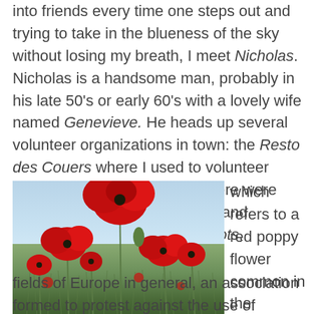into friends every time one steps out and trying to take in the blueness of the sky without losing my breath, I meet Nicholas. Nicholas is a handsome man, probably in his late 50's or early 60's with a lovely wife named Genevieve. He heads up several volunteer organizations in town: the Resto des Couers where I used to volunteer until it became obvious that there were more volunteers than needed; and something called the Coquelicots, which refers to a red poppy flower common in the fields of Europe in general, an association formed to protest against the use of pesticides.
[Figure (photo): A field of bright red poppy flowers in bloom, with green stems and grass in the foreground and a light blue sky in the background.]